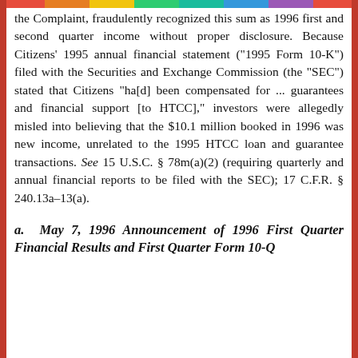the Complaint, fraudulently recognized this sum as 1996 first and second quarter income without proper disclosure. Because Citizens' 1995 annual financial statement ("1995 Form 10-K") filed with the Securities and Exchange Commission (the "SEC") stated that Citizens "ha[d] been compensated for ... guarantees and financial support [to HTCC]," investors were allegedly misled into believing that the $10.1 million booked in 1996 was new income, unrelated to the 1995 HTCC loan and guarantee transactions. See 15 U.S.C. § 78m(a)(2) (requiring quarterly and annual financial reports to be filed with the SEC); 17 C.F.R. § 240.13a-13(a).
a. May 7, 1996 Announcement of 1996 First Quarter Financial Results and First Quarter Form 10-Q